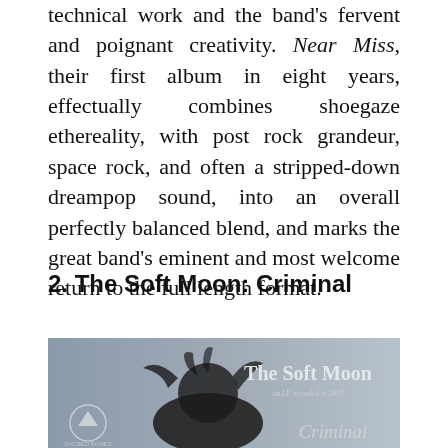technical work and the band's fervent and poignant creativity. Near Miss, their first album in eight years, effectually combines shoegaze ethereality, with post rock grandeur, space rock, and often a stripped-down dreampop sound, into an overall perfectly balanced blend, and marks the great band's eminent and most welcome return to the full length format.
2. The Soft Moon: Criminal
[Figure (photo): Album cover of 'Criminal' by The Soft Moon on Sacred Bones records. Dark atmospheric image showing a figure with dark hair against a muted blue-grey background. Text reads 'The Soft Moon' prominently, with smaller text 'an LP recorded in 2017' and 'Criminal' in italic script at the bottom right. Sacred Bones label logo visible at the lower left.]